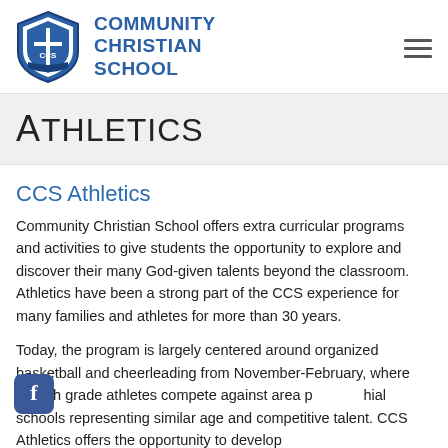COMMUNITY CHRISTIAN SCHOOL
Athletics
CCS Athletics
Community Christian School offers extra curricular programs and activities to give students the opportunity to explore and discover their many God-given talents beyond the classroom. Athletics have been a strong part of the CCS experience for many families and athletes for more than 30 years.
Today, the program is largely centered around organized basketball and cheerleading from November-February, where 4th-8th grade athletes compete against area parochial schools representing similar age and competitive talent. CCS Athletics offers the opportunity to develop